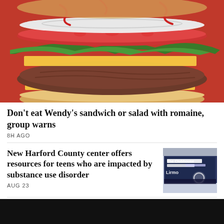[Figure (photo): Close-up photo of a Wendy's burger with lettuce, tomato, onion, cheese, and beef patty on a bun, against a red background.]
Don't eat Wendy's sandwich or salad with romaine, group warns
8H AGO
New Harford County center offers resources for teens who are impacted by substance use disorder
[Figure (photo): Photo of a sign reading 'The Clubhouse by Ashley' with a logo below.]
AUG 23
FDA authorizes Novavax COVID-19 vaccine